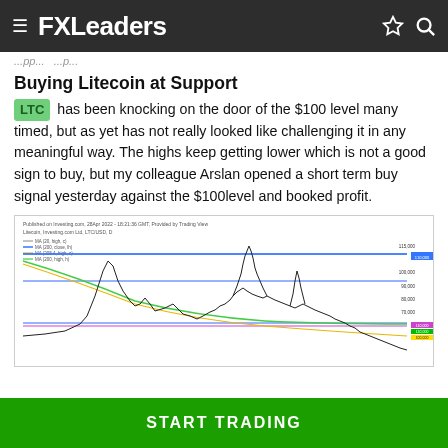FXLeaders
...pp... ...p...
Buying Litecoin at Support
LTC has been knocking on the door of the $100 level many timed, but as yet has not really looked like challenging it in any meaningful way. The highs keep getting lower which is not a good sign to buy, but my colleague Arslan opened a short term buy signal yesterday against the $100level and booked profit.
[Figure (continuous-plot): Litecoin daily price chart showing candlestick data with multiple moving averages (MA 20, MA 100, MA 200) and horizontal support/resistance levels. Chart sourced from Investing.com, dated 28 Apr 2022. Price action shows a historical peak followed by decline and recent consolidation around support levels near $100.]
START TRADING